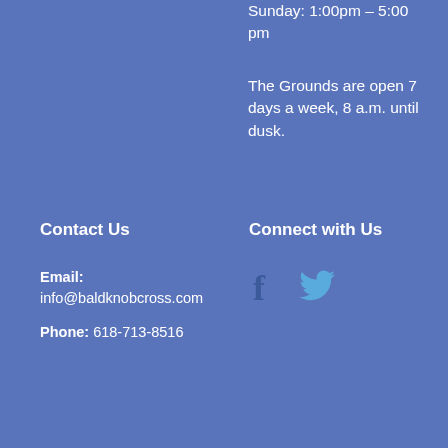Sunday: 1:00pm – 5:00 pm
The Grounds are open 7 days a week, 8 a.m. until dusk.
Contact Us
Connect with Us
Email: info@baldknobcross.com
Phone: 618-713-8516
[Figure (other): Facebook and Twitter social media icons]